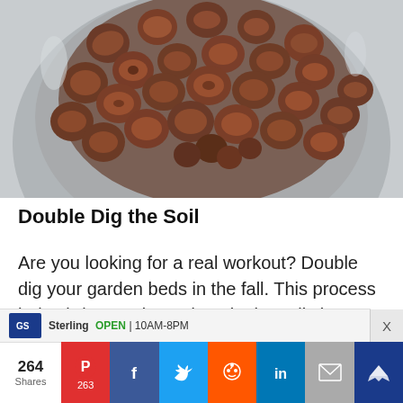[Figure (photo): Overhead view of round brown clay pebbles/pellets in a large gray concrete or stone mortar bowl.]
Double Dig the Soil
Are you looking for a real workout? Double dig your garden beds in the fall. This process helps bring nutrients deep in the soil closer to the surface to be more easily accessed by
264 Shares | Pinterest 263 | Facebook | Twitter | Reddit | LinkedIn | Email | Crown | Sterling OPEN 10AM-8PM